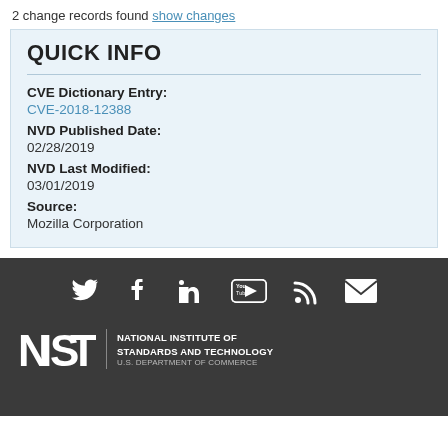2 change records found show changes
QUICK INFO
CVE Dictionary Entry:
CVE-2018-12388
NVD Published Date:
02/28/2019
NVD Last Modified:
03/01/2019
Source:
Mozilla Corporation
[Figure (infographic): Dark footer with social media icons (Twitter, Facebook, LinkedIn, YouTube, RSS, Email) and NIST logo with text NATIONAL INSTITUTE OF STANDARDS AND TECHNOLOGY U.S. DEPARTMENT OF COMMERCE]